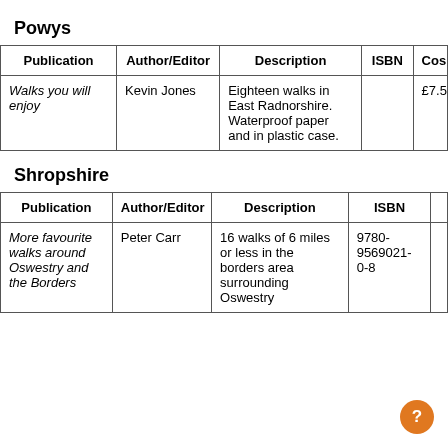Powys
| Publication | Author/Editor | Description | ISBN | Cost |
| --- | --- | --- | --- | --- |
| Walks you will enjoy | Kevin Jones | Eighteen walks in East Radnorshire. Waterproof paper and in plastic case. |  | £7.5 |
Shropshire
| Publication | Author/Editor | Description | ISBN |
| --- | --- | --- | --- |
| More favourite walks around Oswestry and the Borders | Peter Carr | 16 walks of 6 miles or less in the borders area surrounding Oswestry | 9780-9569021-0-8 |